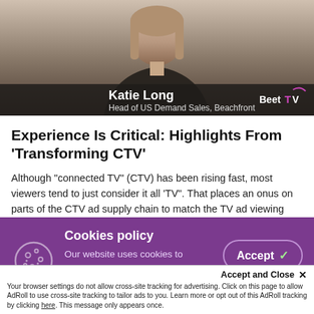[Figure (photo): Video thumbnail showing a woman in a dark blazer with a nameplate overlay reading 'Katie Long, Head of US Demand Sales, Beachfront' and the BeetTV logo in the lower right]
Experience Is Critical: Highlights From ‘Transforming CTV’
Although “connected TV” (CTV) has been rising fast, most viewers tend to just consider it all ‘TV”. That places an onus on parts of the CTV ad supply chain to match the TV ad viewing experience, eliminating duplicate or poorly targeted ads. Ten executives interviewed for the just-wrapped Transforming CTV: Delivering a Better Ad Experience
Cookies policy
Our website uses cookies to analyse how the site is used and to ensure your experience is
Accept and Close ×
Your browser settings do not allow cross-site tracking for advertising. Click on this page to allow AdRoll to use cross-site tracking to tailor ads to you. Learn more or opt out of this AdRoll tracking by clicking here. This message only appears once.